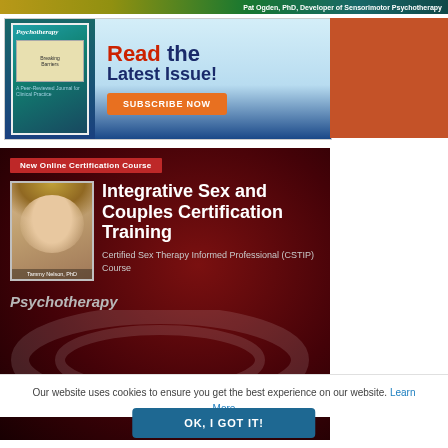Pat Ogden, PhD, Developer of Sensorimotor Psychotherapy
[Figure (illustration): Psychotherapy magazine subscription ad: book cover on left, 'Read the Latest Issue!' text in center with orange 'SUBSCRIBE NOW' button, salmon/coral background on right.]
[Figure (illustration): Red background banner ad for 'New Online Certification Course: Integrative Sex and Couples Certification Training – Certified Sex Therapy Informed Professional (CSTIP) Course' by Tammy Nelson, PhD. Features photo of instructor and 'Psychotherapy' text at bottom.]
Our website uses cookies to ensure you get the best experience on our website. Learn More
OK, I GOT IT!